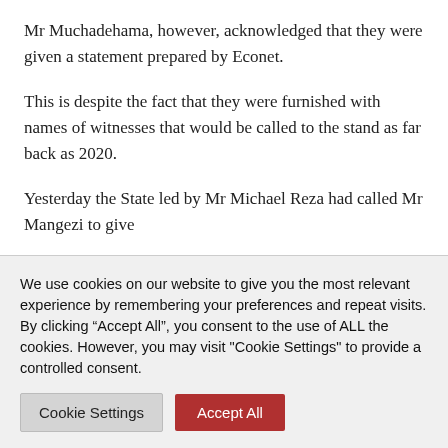Mr Muchadehama, however, acknowledged that they were given a statement prepared by Econet.
This is despite the fact that they were furnished with names of witnesses that would be called to the stand as far back as 2020.
Yesterday the State led by Mr Michael Reza had called Mr Mangezi to give
We use cookies on our website to give you the most relevant experience by remembering your preferences and repeat visits. By clicking “Accept All”, you consent to the use of ALL the cookies. However, you may visit "Cookie Settings" to provide a controlled consent.